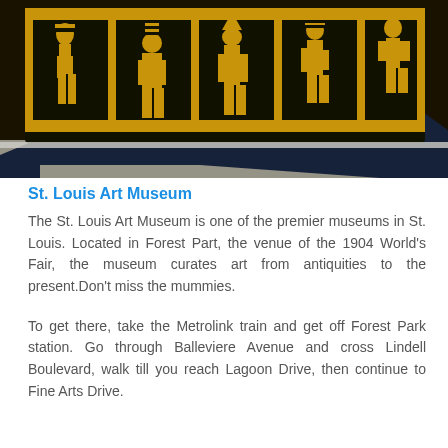[Figure (photo): Close-up photograph of an ancient Egyptian sarcophagus with black background and gold-painted hieroglyphic figures (Egyptian gods/deities) arranged in panels across the surface, displayed on a white surface.]
St. Louis Art Museum
The St. Louis Art Museum is one of the premier museums in St. Louis. Located in Forest Part, the venue of the 1904 World's Fair, the museum curates art from antiquities to the present.Don't miss the mummies.
To get there, take the Metrolink train and get off Forest Park station. Go through Balleviere Avenue and cross Lindell Boulevard, walk till you reach Lagoon Drive, then continue to Fine Arts Drive.